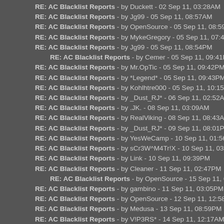RE: AC Blacklist Reports - by Duckett - 02 Sep 11, 03:28AM
RE: AC Blacklist Reports - by Jg99 - 05 Sep 11, 08:57AM
RE: AC Blacklist Reports - by OpenSource - 05 Sep 11, 08:59AM
RE: AC Blacklist Reports - by MykeGregory - 05 Sep 11, 07:48PM
RE: AC Blacklist Reports - by Jg99 - 05 Sep 11, 08:54PM
RE: AC Blacklist Reports - by Cemer - 05 Sep 11, 09:41PM
RE: AC Blacklist Reports - by Mr.OpTic - 05 Sep 11, 09:42PM
RE: AC Blacklist Reports - by *Legend* - 05 Sep 11, 09:43PM
RE: AC Blacklist Reports - by Kohlhtre000 - 05 Sep 11, 10:15PM
RE: AC Blacklist Reports - by _Dust_RJ* - 06 Sep 11, 02:52AM
RE: AC Blacklist Reports - by .JK. - 08 Sep 11, 03:09AM
RE: AC Blacklist Reports - by RealViking - 08 Sep 11, 08:43AM
RE: AC Blacklist Reports - by _Dust_RJ* - 09 Sep 11, 08:01PM
RE: AC Blacklist Reports - by YesWeCamp - 10 Sep 11, 01:56PM
RE: AC Blacklist Reports - by sCr3W^M4Tr!X - 10 Sep 11, 03:37PM
RE: AC Blacklist Reports - by Link - 10 Sep 11, 09:39PM
RE: AC Blacklist Reports - by Cleaner - 11 Sep 11, 02:47PM
RE: AC Blacklist Reports - by OpenSource - 15 Sep 11, 06:52PM
RE: AC Blacklist Reports - by gambino - 11 Sep 11, 03:05PM
RE: AC Blacklist Reports - by OpenSource - 12 Sep 11, 12:58PM
RE: AC Blacklist Reports - by Medusa - 13 Sep 11, 08:59PM
RE: AC Blacklist Reports - by V!P3RS* - 14 Sep 11, 12:17AM
RE: AC Blacklist Reports - by vonunov - 14 Sep 11, 05:34PM
RE: AC Blacklist Reports - by PERROS - 16 Sep 11, 03:34PM
RE: AC Blacklist Reports - by .:sj*JuL!@ - 14 Sep 11, 08:25PM